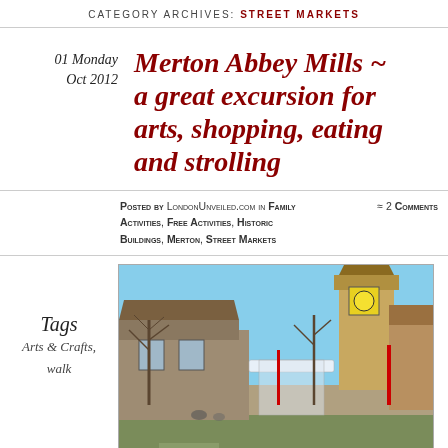CATEGORY ARCHIVES: STREET MARKETS
01 Monday Oct 2012
Merton Abbey Mills ~ a great excursion for arts, shopping, eating and strolling
Posted by LondonUnveiled.com in Family Activities, Free Activities, Historic Buildings, Merton, Street Markets  ≈ 2 Comments
Tags
Arts & Crafts,
walk
[Figure (photo): Outdoor photo of Merton Abbey Mills showing historic stone and brick buildings, a tower with a yellow clock face, market stalls with white canopies, and bare trees against a blue sky.]